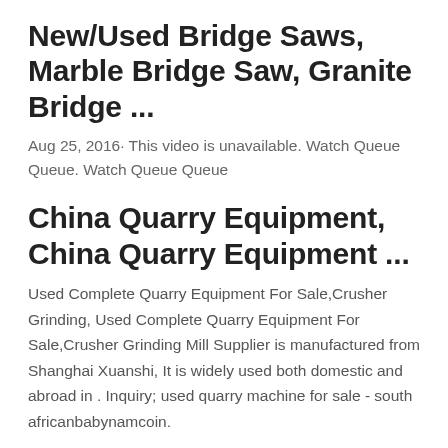New/Used Bridge Saws, Marble Bridge Saw, Granite Bridge ...
Aug 25, 2016· This video is unavailable. Watch Queue Queue. Watch Queue Queue
China Quarry Equipment, China Quarry Equipment ...
Used Complete Quarry Equipment For Sale,Crusher Grinding, Used Complete Quarry Equipment For Sale,Crusher Grinding Mill Supplier is manufactured from Shanghai Xuanshi, It is widely used both domestic and abroad in . Inquiry; used quarry machine for sale - south africanbabynamcoin.
Used Borehole Drilling Machine For ...